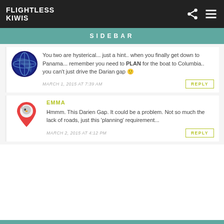FLIGHTLESS KIWIS
SIDEBAR
You two are hysterical... just a hint.. when you finally get down to Panama... remember you need to PLAN for the boat to Columbia.. you can't just drive the Darian gap 🙂
MARCH 1, 2015 AT 7:39 AM
REPLY
EMMA
Hmmm. This Darien Gap. It could be a problem. Not so much the lack of roads, just this 'planning' requirement...
MARCH 2, 2015 AT 4:12 PM
REPLY